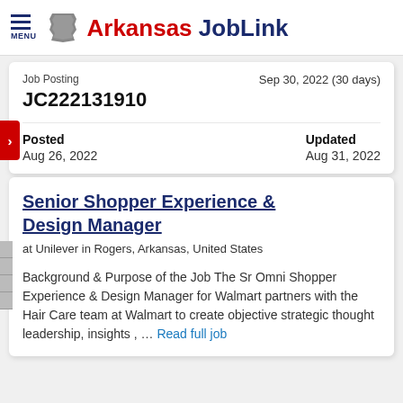MENU — Arkansas JobLink
Job Posting
JC222131910
Sep 30, 2022 (30 days)
Posted: Aug 26, 2022
Updated: Aug 31, 2022
Senior Shopper Experience & Design Manager
at Unilever in Rogers, Arkansas, United States
Background & Purpose of the Job The Sr Omni Shopper Experience & Design Manager for Walmart partners with the Hair Care team at Walmart to create objective strategic thought leadership, insights , ... Read full job